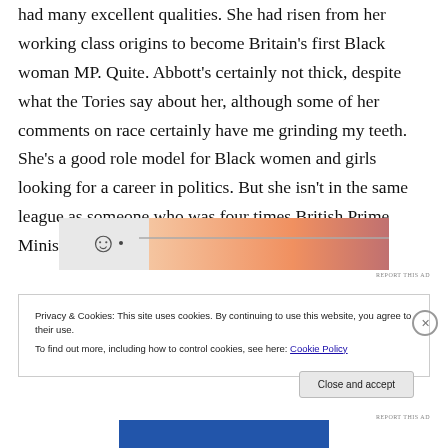had many excellent qualities. She had risen from her working class origins to become Britain's first Black woman MP. Quite. Abbott's certainly not thick, despite what the Tories say about her, although some of her comments on race certainly have me grinding my teeth. She's a good role model for Black women and girls looking for a career in politics. But she isn't in the same league as someone who was four times British Prime Minister.
[Figure (other): Partially visible advertisement banner with gradient background (peach/orange tones) and partial eye graphic]
Privacy & Cookies: This site uses cookies. By continuing to use this website, you agree to their use.
To find out more, including how to control cookies, see here: Cookie Policy
Close and accept